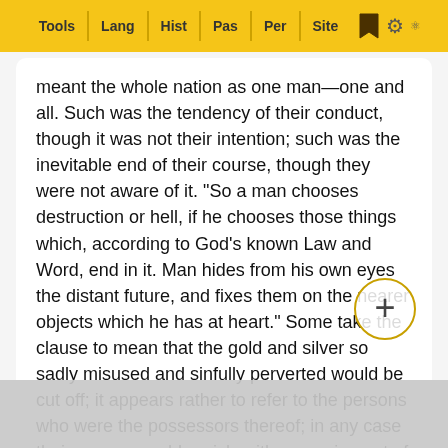Tools | Lang | Hist | Pas | Per | Site
meant the whole nation as one man—one and all. Such was the tendency of their conduct, though it was not their intention; such was the inevitable end of their course, though they were not aware of it. "So a man chooses destruction or hell, if he chooses those things which, according to God's known Law and Word, end in it. Man hides from his own eyes the distant future, and fixes them on the nearer objects which he has at heart." Some take the clause to mean that the gold and silver so sadly misused and sinfully perverted would be cut off; it appears rather to refer to the persons who were the possessors thereof; in any case their money would perish, either passing out of their possession or along with the possessors.
IV. THEIR SIN AND CONSEQUENT SUFFERING ARE INSISTED ON. The striking amplification of the same subject seems designed to impress on the people's mind that they themselves… that they r… ge